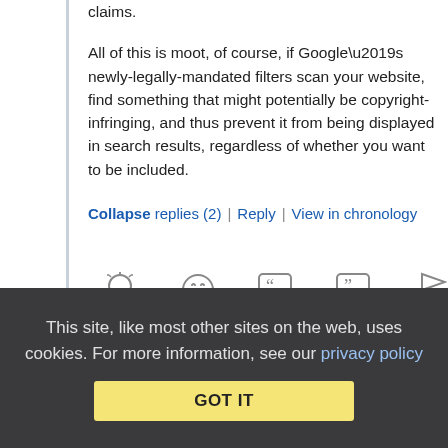claims.
All of this is moot, of course, if Google’s newly-legally-mandated filters scan your website, find something that might potentially be copyright-infringing, and thus prevent it from being displayed in search results, regardless of whether you want to be included.
Collapse replies (2) | Reply | View in chronology
[Figure (screenshot): Row of comment action icons: lightbulb (insightful), laughing emoji, quote bubble with double open-quote, quote bubble with double close-quote, flag]
[Figure (screenshot): Reply/expand icon with [5] badge indicating 5 replies]
[Figure (screenshot): Settings/gear icon]
This site, like most other sites on the web, uses cookies. For more information, see our privacy policy
GOT IT